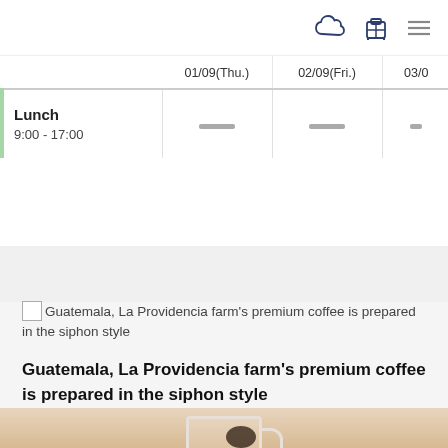Navigation bar with cloud icon, luggage icon, and menu icon
|  | 01/09(Thu.) | 02/09(Fri.) | 03/0 |
| --- | --- | --- | --- |
| Lunch 9:00 - 17:00 | — | — | — |
[Figure (photo): Broken image placeholder with alt text: Guatemala, La Providencia farm's premium coffee is prepared in the siphon style]
Guatemala, La Providencia farm's premium coffee is prepared in the siphon style
[Figure (photo): Photo of a white and pink ceramic coffee cup with black coffee on a light wooden surface, hands partially visible]